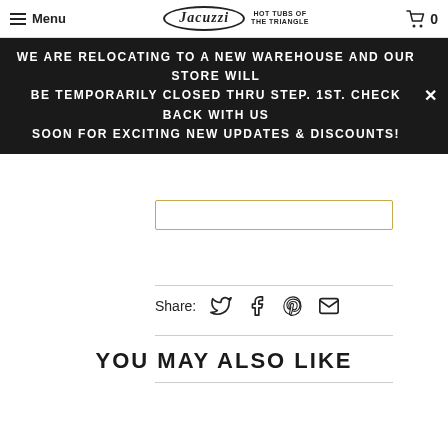Menu | Jacuzzi Hot Tubs of the Triangle | 0
WE ARE RELOCATING TO A NEW WAREHOUSE AND OUR STORE WILL BE TEMPORARILY CLOSED THRU STEP. 1ST. CHECK BACK WITH US SOON FOR EXCITING NEW UPDATES & DISCOUNTS!
Share:
YOU MAY ALSO LIKE